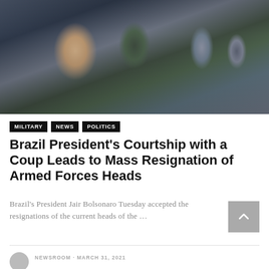[Figure (photo): Military ceremony photo showing Brazilian President Jair Bolsonaro alongside military generals and officers in uniform, some saluting, wearing medals and decorations.]
MILITARY   NEWS   POLITICS
Brazil President's Courtship with a Coup Leads to Mass Resignation of Armed Forces Heads
Brazil's President Jair Bolsonaro Tuesday accepted the resignations of the current heads of the …
NEWSROOM · MARCH 31, 2021